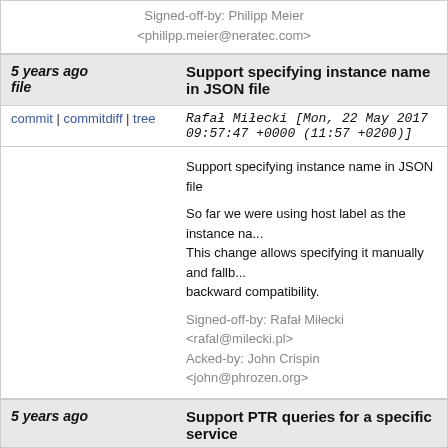Signed-off-by: Philipp Meier <philipp.meier@neratec.com>
5 years ago  Support specifying instance name in JSON file
commit | commitdiff | tree  Rafał Miłecki [Mon, 22 May 2017 09:57:47 +0000 (11:57 +0200)]
Support specifying instance name in JSON file

So far we were using host label as the instance na... This change allows specifying it manually and fallb... backward compatibility.

Signed-off-by: Rafał Miłecki <rafal@milecki.pl>
Acked-by: John Crispin <john@phrozen.org>
5 years ago  Support PTR queries for a specific service
commit | commitdiff | tree  Rafał Miłecki [Wed, 10 May 2017 20:45:49 +0000 (22:45 +0200)]
Support PTR queries for a specific service

We should check if queried name starts with a _ to specific service + domain.

Fixes: 70c66fbbcde86 ("Fix sending replies to PTR questions")